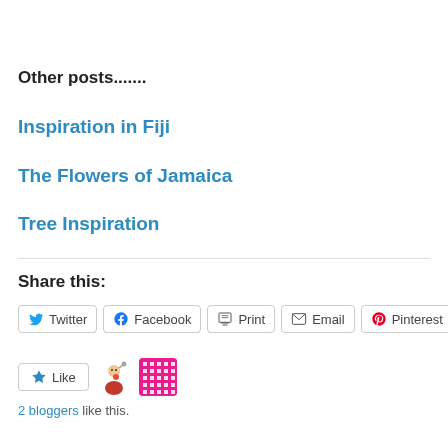Other posts.......
Inspiration in Fiji
The Flowers of Jamaica
Tree Inspiration
Share this:
Twitter | Facebook | Print | Email | Pinterest
[Figure (other): Like button with star icon and two blogger avatar icons]
2 bloggers like this.